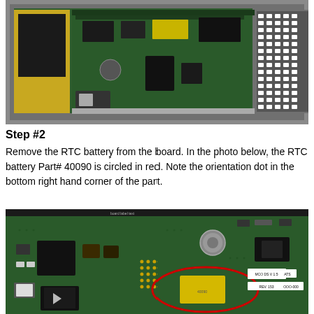[Figure (photo): Top-down photo of an open electronic enclosure showing a green circuit board with various components, connectors, chips, and a yellow capacitor. The board is mounted in a metal chassis.]
Step #2
Remove the RTC battery from the board. In the photo below, the RTC battery Part# 40090 is circled in red. Note the orientation dot in the bottom right hand corner of the part.
[Figure (photo): Close-up photo of a green circuit board with a red oval circle drawn on it, highlighting the RTC battery Part# 40090 (a yellow rectangular component). Various chips, connectors, and components are visible on the board including a Siemens chip and several labeled ICs.]